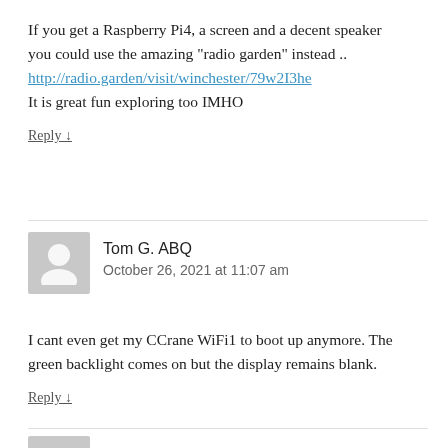If you get a Raspberry Pi4, a screen and a decent speaker you could use the amazing “radio garden” instead ..
http://radio.garden/visit/winchester/79w2I3he
It is great fun exploring too IMHO
Reply ↓
Tom G. ABQ
October 26, 2021 at 11:07 am
[Figure (illustration): Grey avatar silhouette icon representing a user profile picture]
I cant even get my CCrane WiFi1 to boot up anymore. The green backlight comes on but the display remains blank.
Reply ↓